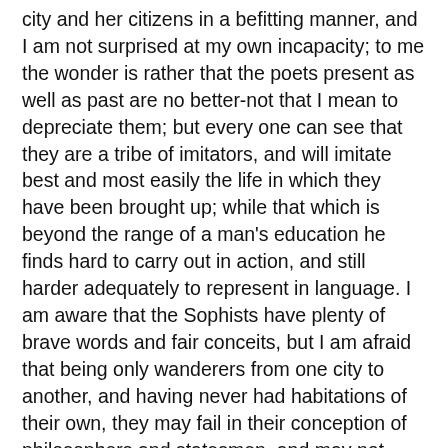city and her citizens in a befitting manner, and I am not surprised at my own incapacity; to me the wonder is rather that the poets present as well as past are no better-not that I mean to depreciate them; but every one can see that they are a tribe of imitators, and will imitate best and most easily the life in which they have been brought up; while that which is beyond the range of a man's education he finds hard to carry out in action, and still harder adequately to represent in language. I am aware that the Sophists have plenty of brave words and fair conceits, but I am afraid that being only wanderers from one city to another, and having never had habitations of their own, they may fail in their conception of philosophers and statesmen, and may not know what they do and say in time of war, when they are fighting or holding parley with their enemies. And thus people of your class are the only ones remaining who are fitted by nature and education to take part at once both in politics and philosophy. Here is Timaeus, of Locris in Italy, a city which has admirable laws, and who is himself in wealth and rank the equal of any of his fellow-citizens; he has held the most important and honourable offices in his own state, and, as I believe, has scaled the heights of all philosophy; and here is Critias,